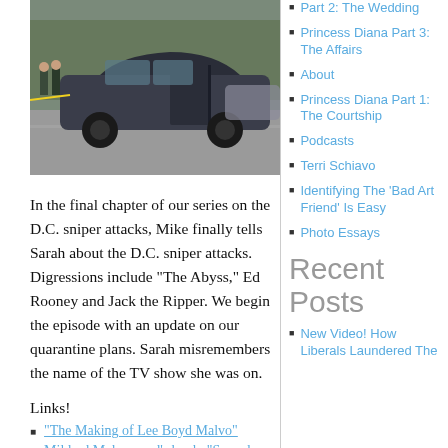[Figure (photo): A dark-colored car with open doors parked on a road; law enforcement figures visible in background near yellow tape.]
In the final chapter of our series on the D.C. sniper attacks, Mike finally tells Sarah about the D.C. sniper attacks. Digressions include “The Abyss,” Ed Rooney and Jack the Ripper. We begin the episode with an update on our quarantine plans. Sarah misremembers the name of the TV show she was on.
Links!
“The Making of Lee Boyd Malvo”
Mildred Muhammad’s book, “Scared Silent”
Princess Diana Part 2: The Wedding
Princess Diana Part 3: The Affairs
About
Princess Diana Part 1: The Courtship
Podcasts
Terri Schiavo
Identifying The ‘Bad Art Friend’ Is Easy
Photo Essays
Recent Posts
New Video! How Liberals Laundered The